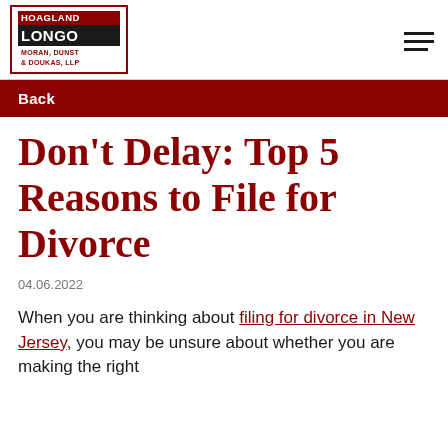HOAGLAND LONGO MORAN, DUNST & DOUKAS, LLP
Back
Don't Delay: Top 5 Reasons to File for Divorce
04.06.2022
When you are thinking about filing for divorce in New Jersey, you may be unsure about whether you are making the right